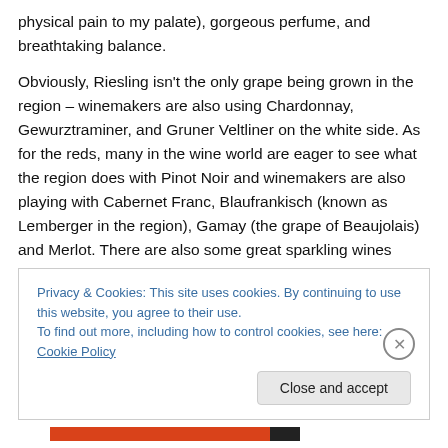physical pain to my palate), gorgeous perfume, and breathtaking balance.
Obviously, Riesling isn't the only grape being grown in the region – winemakers are also using Chardonnay, Gewurztraminer, and Gruner Veltliner on the white side. As for the reds, many in the wine world are eager to see what the region does with Pinot Noir and winemakers are also playing with Cabernet Franc, Blaufrankisch (known as Lemberger in the region), Gamay (the grape of Beaujolais) and Merlot. There are also some great sparkling wines
Privacy & Cookies: This site uses cookies. By continuing to use this website, you agree to their use. To find out more, including how to control cookies, see here: Cookie Policy